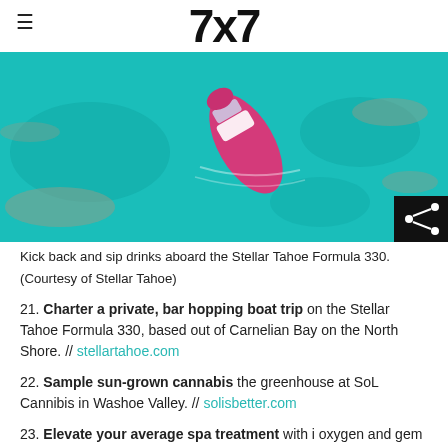7x7
[Figure (photo): Aerial view of a pink and white speedboat (Stellar Tahoe Formula 330) on clear turquoise water with rocky islands visible. A share icon button appears in the bottom-right corner of the image.]
Kick back and sip drinks aboard the Stellar Tahoe Formula 330.
(Courtesy of Stellar Tahoe)
21. Charter a private, bar hopping boat trip on the Stellar Tahoe Formula 330, based out of Carnelian Bay on the North Shore. // stellartahoe.com
22. Sample sun-grown cannabis the greenhouse at SoL Cannibis in Washoe Valley. // solisbetter.com
23. Elevate your average spa treatment with i oxygen and gem stones at Spa Edgewood in